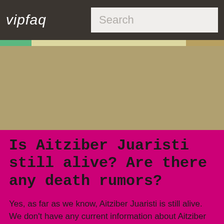vipfaq
[Figure (screenshot): Advertisement/banner area with tan/khaki background color]
Is Aitziber Juaristi still alive? Are there any death rumors?
Yes, as far as we know, Aitziber Juaristi is still alive. We don't have any current information about Aitziber Juaristi's health. However, being more than 50 years, that is not this bad!